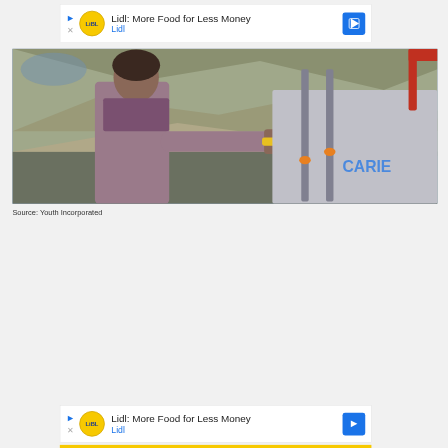[Figure (other): Lidl advertisement banner at top: logo, text 'Lidl: More Food for Less Money', 'Lidl', navigation arrow icon]
[Figure (photo): A man wearing a purple/mauve kurta and scarf stands near a vehicle with metal bars/pipes. Rocky mountain background visible. Man appears to be working near a truck.]
Source: Youth Incorporated
[Figure (other): Lidl advertisement banner at bottom: logo, text 'Lidl: More Food for Less Money', 'Lidl', navigation arrow icon, yellow bottom bar]